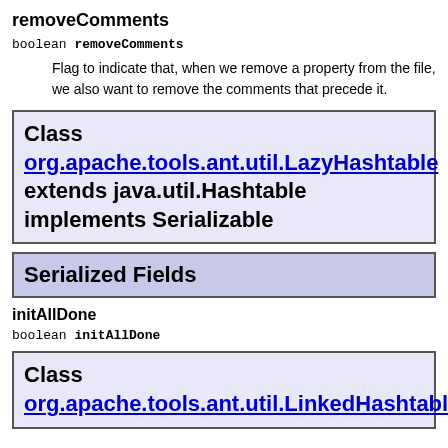removeComments
boolean removeComments
Flag to indicate that, when we remove a property from the file, we also want to remove the comments that precede it.
Class org.apache.tools.ant.util.LazyHashtable extends java.util.Hashtable implements Serializable
Serialized Fields
initAllDone
boolean initAllDone
Class org.apache.tools.ant.util.LinkedHashtable